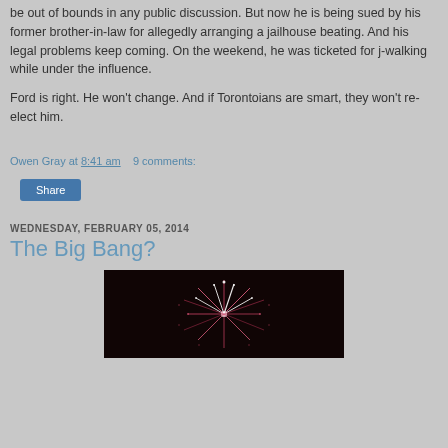being sued by his former brother-in-law for allegedly arranging a jailhouse beating. And his legal problems keep coming. On the weekend, he was ticketed for j-walking while under the influence.
Ford is right. He won't change. And if Torontoians are smart, they won't re-elect him.
Owen Gray at 8:41 am   9 comments:
Share
WEDNESDAY, FEBRUARY 05, 2014
The Big Bang?
[Figure (photo): Fireworks explosion image with white sparks on dark background]